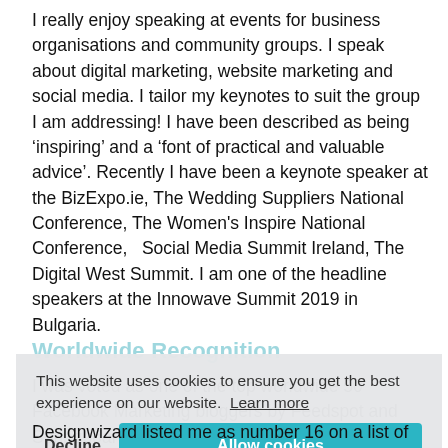I really enjoy speaking at events for business organisations and community groups. I speak about digital marketing, website marketing and social media. I tailor my keynotes to suit the group I am addressing! I have been described as being ‘inspiring’ and a ‘font of practical and valuable advice’. Recently I have been a keynote speaker at the BizExpo.ie, The Wedding Suppliers National Conference, The Women's Inspire National Conference, Social Media Summit Ireland, The Digital West Summit. I am one of the headline speakers at the Innowave Summit 2019 in Bulgaria.
Worldwide Recognition
I was voted as one of the top worldwide 50 Facebook Marketing bloggers by Feedspot and Springboard.com listed me as one of the top 108 digital marketing experts worth following. Bloggercage listed me as one of the top 10 worldwide Facebook experts and more recently Designwizard listed me as number 16 on a list of Ireland's